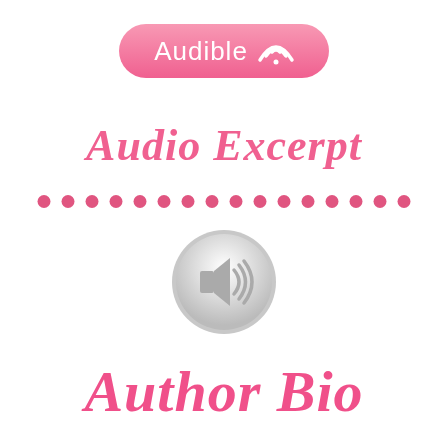[Figure (logo): Audible logo: pink rounded pill-shaped button with white text 'Audible' and white wifi/audio wave icon on the right]
Audio Excerpt
[Figure (illustration): Row of pink dots (decorative separator)]
[Figure (illustration): Silver circular button with white speaker/volume icon in the center]
Author Bio